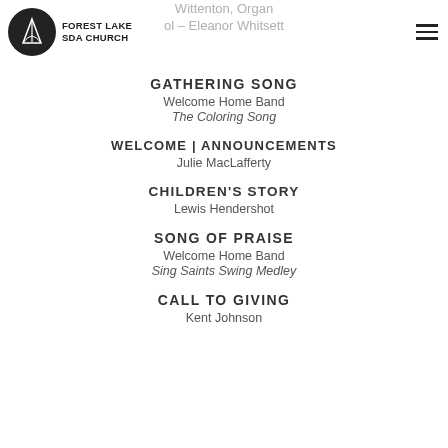Forest Lake SDA Church
Wittenton, Organ
ol – Eleanor Whitsett
GATHERING SONG
Welcome Home Band
The Coloring Song
WELCOME | ANNOUNCEMENTS
Julie MacLafferty
CHILDREN'S STORY
Lewis Hendershot
SONG OF PRAISE
Welcome Home Band
Sing Saints Swing Medley
CALL TO GIVING
Kent Johnson